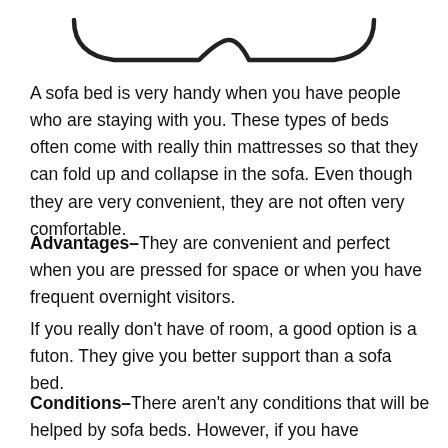[Figure (illustration): Bottom portion of a sofa bed line drawing showing the curved base/frame outline]
A sofa bed is very handy when you have people who are staying with you. These types of beds often come with really thin mattresses so that they can fold up and collapse in the sofa. Even though they are very convenient, they are not often very comfortable.
Advantages–They are convenient and perfect when you are pressed for space or when you have frequent overnight visitors.
If you really don't have of room, a good option is a futon. They give you better support than a sofa bed.
Conditions–There aren't any conditions that will be helped by sofa beds. However, if you have problems with bad hips or bad